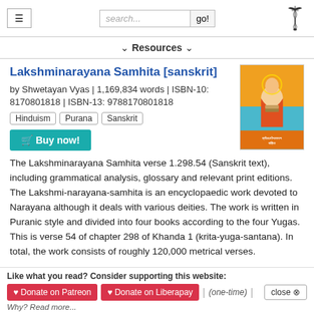≡  search...  go!
▼ Resources ▼
Lakshminarayana Samhita [sanskrit]
by Shwetayan Vyas | 1,169,834 words | ISBN-10: 8170801818 | ISBN-13: 9788170801818
Hinduism
Purana
Sanskrit
🛒 Buy now!
[Figure (illustration): Book cover of Lakshminarayana Samhita with orange and blue background showing a sage figure]
The Lakshminarayana Samhita verse 1.298.54 (Sanskrit text), including grammatical analysis, glossary and relevant print editions. The Lakshmi-narayana-samhita is an encyclopaedic work devoted to Narayana although it deals with various deities. The work is written in Puranic style and divided into four books according to the four Yugas. This is verse 54 of chapter 298 of Khanda 1 (krita-yuga-santana). In total, the work consists of roughly 120,000 metrical verses.
Like what you read? Consider supporting this website: ♥ Donate on Patreon  ♥ Donate on Liberapay  | (one-time) |  close ✕  Why? Read more...